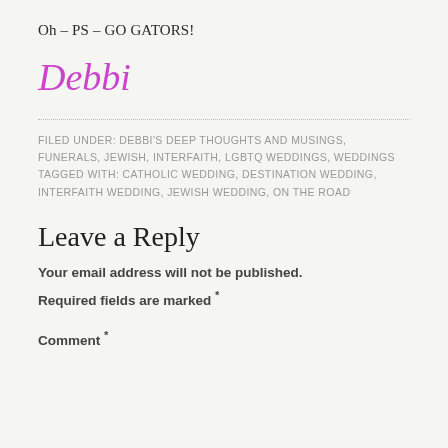Oh – PS – GO GATORS!
Debbi
FILED UNDER: DEBBI'S DEEP THOUGHTS AND MUSINGS, FUNERALS, JEWISH, INTERFAITH, LGBTQ WEDDINGS, WEDDINGS TAGGED WITH: CATHOLIC WEDDING, DESTINATION WEDDING, INTERFAITH WEDDING, JEWISH WEDDING, ON THE ROAD
Leave a Reply
Your email address will not be published. Required fields are marked *
Comment *